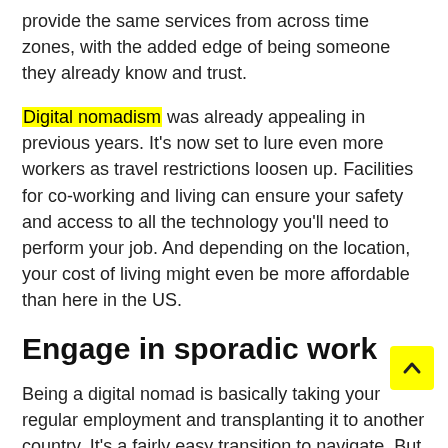provide the same services from across time zones, with the added edge of being someone they already know and trust.
Digital nomadism was already appealing in previous years. It's now set to lure even more workers as travel restrictions loosen up. Facilities for co-working and living can ensure your safety and access to all the technology you'll need to perform your job. And depending on the location, your cost of living might even be more affordable than here in the US.
Engage in sporadic work
Being a digital nomad is basically taking your regular employment and transplanting it to another country. It's a fairly easy transition to navigate. But the typical